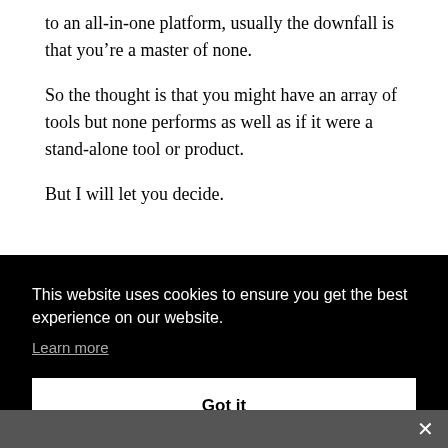to an all-in-one platform, usually the downfall is that you're a master of none.

So the thought is that you might have an array of tools but none performs as well as if it were a stand-alone tool or product.

But I will let you decide.
This website uses cookies to ensure you get the best experience on our website. Learn more
Got it